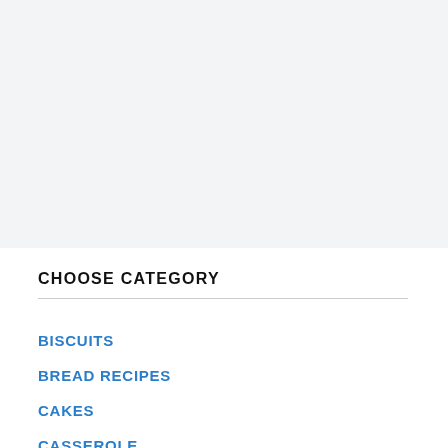[Figure (other): Gray background image area placeholder at the top of the page]
CHOOSE CATEGORY
BISCUITS
BREAD RECIPES
CAKES
CASSEROLE